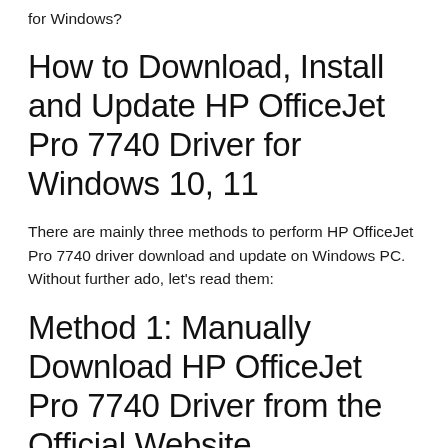for Windows?
How to Download, Install and Update HP OfficeJet Pro 7740 Driver for Windows 10, 11
There are mainly three methods to perform HP OfficeJet Pro 7740 driver download and update on Windows PC. Without further ado, let’s read them:
Method 1: Manually Download HP OfficeJet Pro 7740 Driver from the Official Website
The first way to perform the HP Officejet pro 7740 driver install is the usual manual method. HP keeps releasing the latest drivers to improve features and